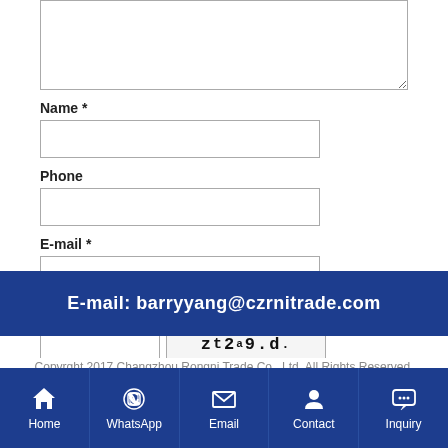[Textarea field]
Name *
[Name input field]
Phone
[Phone input field]
E-mail *
[E-mail input field]
Code *
[Code input field] [Captcha: zt2a9.d.]
Submit
E-mail: barryyang@czrnitrade.com
Copyrght 2017 Changzhou Rongni Trade Co., Ltd. All Rights Reserved. Designed by Zhonghuan Internet
Home | WhatsApp | Email | Contact | Inquiry